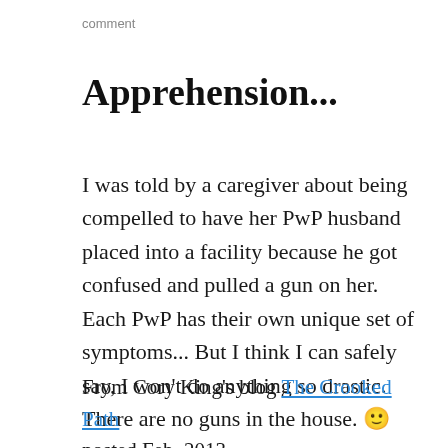comment
Apprehension...
I was told by a caregiver about being compelled to have her PwP husband placed into a facility because he got confused and pulled a gun on her. Each PwP has their own unique set of symptoms... But I think I can safely say, I won't do anything so drastic. There are no guns in the house. 🙂
From Cory King's blog The Crooked Path posted Feb. 2013